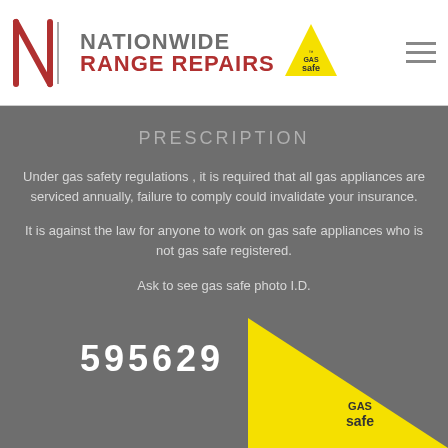[Figure (logo): Nationwide Range Repairs logo with N graphic, company name, and Gas Safe triangle logo]
PRESCRIPTION
Under gas safety regulations , it is required that all gas appliances are serviced annually, failure to comply could invalidate your insurance.
It is against the law for anyone to work on gas safe appliances who is not gas safe registered.
Ask to see gas safe photo I.D.
[Figure (logo): Gas Safe registration number 595629 with yellow Gas Safe triangle logo]